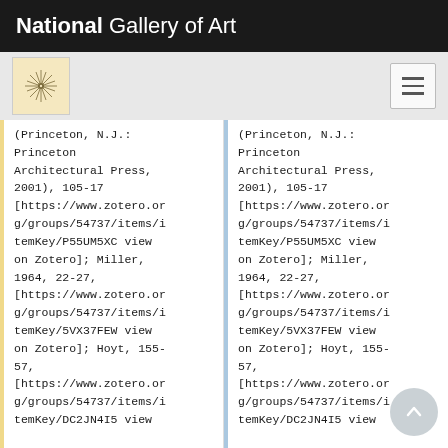National Gallery of Art
(Princeton, N.J.: Princeton Architectural Press, 2001), 105-17 [https://www.zotero.org/groups/54737/items/itemKey/P55UM5XC view on Zotero]; Miller, 1964, 22-27, [https://www.zotero.org/groups/54737/items/itemKey/5VX37FEW view on Zotero]; Hoyt, 155-57, [https://www.zotero.org/groups/54737/items/itemKey/DC2JN4I5 view
(Princeton, N.J.: Princeton Architectural Press, 2001), 105-17 [https://www.zotero.org/groups/54737/items/itemKey/P55UM5XC view on Zotero]; Miller, 1964, 22-27, [https://www.zotero.org/groups/54737/items/itemKey/5VX37FEW view on Zotero]; Hoyt, 155-57, [https://www.zotero.org/groups/54737/items/itemKey/DC2JN4I5 view